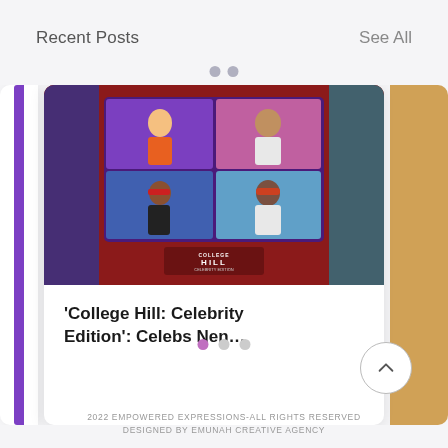Recent Posts
See All
[Figure (screenshot): Screenshot of a website showing a blog post card for 'College Hill: Celebrity Edition' with a TV show thumbnail featuring four people in a 2x2 grid on a dark red background, with a purple accent bar on the left side of the card.]
'College Hill: Celebrity Edition': Celebs Nen…
2022 EMPOWERED EXPRESSIONS-ALL RIGHTS RESERVED
DESIGNED BY EMUNAH CREATIVE AGENCY